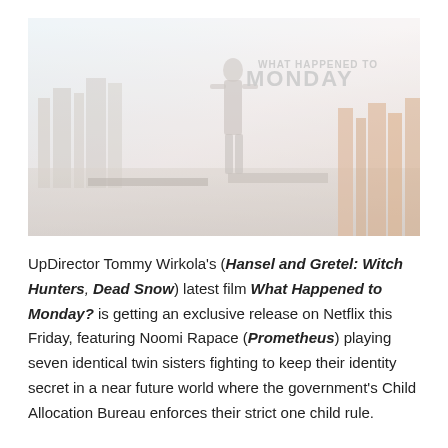[Figure (photo): Movie promotional image for 'What Happened to Monday' — a light-washed science fiction scene showing a silhouetted figure standing in a hazy futuristic cityscape. The title text 'WHAT HAPPENED TO MONDAY' appears in the upper right in white letters.]
UpDirector Tommy Wirkola's (Hansel and Gretel: Witch Hunters, Dead Snow) latest film What Happened to Monday? is getting an exclusive release on Netflix this Friday, featuring Noomi Rapace (Prometheus) playing seven identical twin sisters fighting to keep their identity secret in a near future world where the government's Child Allocation Bureau enforces their strict one child rule.